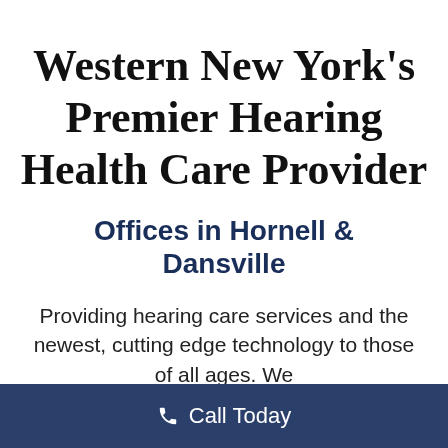Western New York's Premier Hearing Health Care Provider
Offices in Hornell & Dansville
Providing hearing care services and the newest, cutting edge technology to those of all ages. We
Call Today